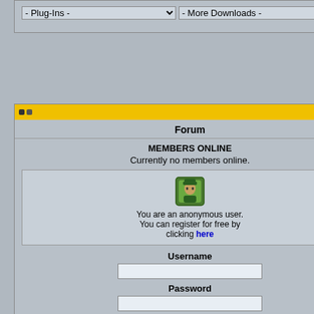- Plug-Ins -
- More Downloads -
Forum
MEMBERS ONLINE
Currently no members online.
[Figure (illustration): Anonymous user avatar icon]
You are an anonymous user. You can register for free by clicking here
Username
Password
Show remember me check box
Login
Infos
Museum
Infocenter
Status: Offline
melonDS is a Nintendo
Quote:
Fix macOS
Fill most g
Fix touchs mode (Aris
GBACart: (Arisotura)
Frontend: (Generic a
Implement (BlueThed
Make Setu macOS (N
Add frame fixes by G
Add DSP c
Save wind
JIT optimis RSDuck)
Add ROM
Allow usin (MightyMa
More accu (MightyMa
Only open (Arisotura)
Fix undo le aka RSDu